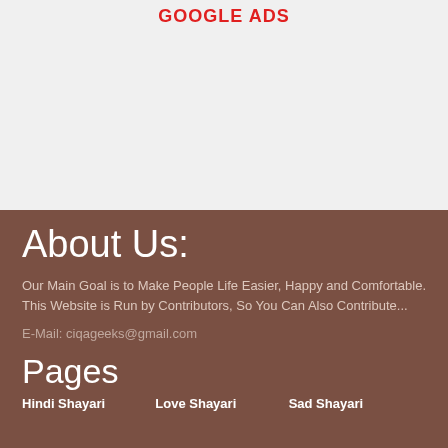GOOGLE ADS
About Us:
Our Main Goal is to Make People Life Easier, Happy and Comfortable. This Website is Run by Contributors, So You Can Also Contribute...
E-Mail: ciqageeks@gmail.com
Pages
Hindi Shayari
Love Shayari
Sad Shayari